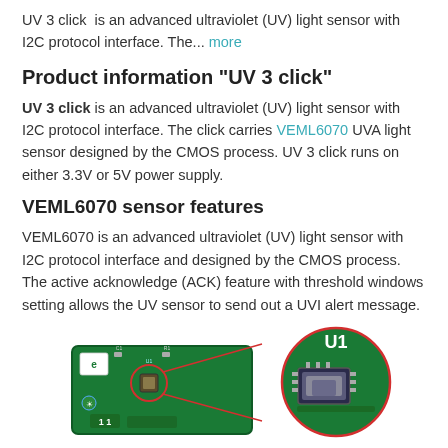UV 3 click is an advanced ultraviolet (UV) light sensor with I2C protocol interface. The... more
Product information "UV 3 click"
UV 3 click is an advanced ultraviolet (UV) light sensor with I2C protocol interface. The click carries VEML6070 UVA light sensor designed by the CMOS process. UV 3 click runs on either 3.3V or 5V power supply.
VEML6070 sensor features
VEML6070 is an advanced ultraviolet (UV) light sensor with I2C protocol interface and designed by the CMOS process. The active acknowledge (ACK) feature with threshold windows setting allows the UV sensor to send out a UVI alert message.
[Figure (photo): Photo of the UV 3 click board with a zoomed-in circular inset showing the U1 chip (VEML6070 sensor) on the green PCB. The inset is highlighted with a red circle and connected by red lines to the close-up of the IC.]